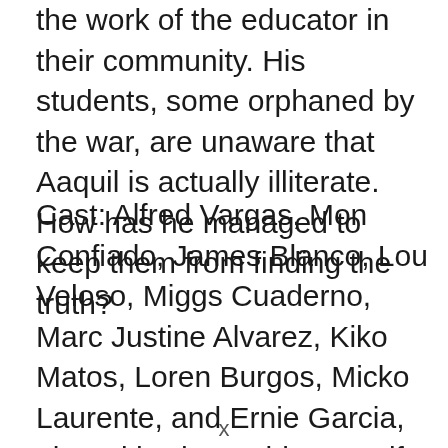the work of the educator in their community. His students, some orphaned by the war, are unaware that Aaquil is actually illiterate. How has he managed to keep them from finding the truth?
Cast: Alfred Vargas, Mon Confiado, James Blanco, Lou Veloso, Miggs Cuaderno, Marc Justine Alvarez, Kiko Matos, Loren Burgos, Micko Laurente, and Ernie Garcia, also with Shyr Valdez, Marife Necesito, Paul Sy, Alvin Barcelona, Garrie Concepcion, Richard Manabat and Joana Marie Tan.
x